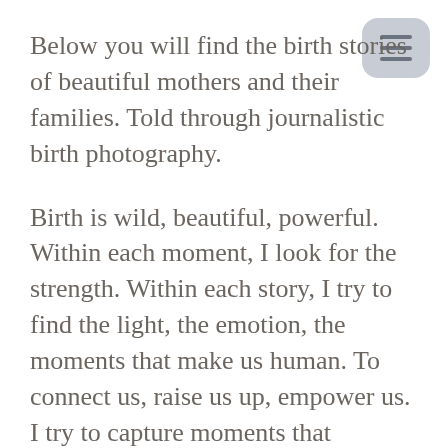[Figure (other): Hamburger menu button icon in a rounded gray rectangle, top right corner]
Below you will find the birth stories of beautiful mothers and their families. Told through journalistic birth photography.
Birth is wild, beautiful, powerful. Within each moment, I look for the strength. Within each story, I try to find the light, the emotion, the moments that make us human. To connect us, raise us up, empower us. I try to capture moments that represent all walks of life, that speak of disparities, and demolish stereotypes. Fathers that love and cry for their children in strength. Women of color breastfeeding gloriously. Siblings being a positive active part